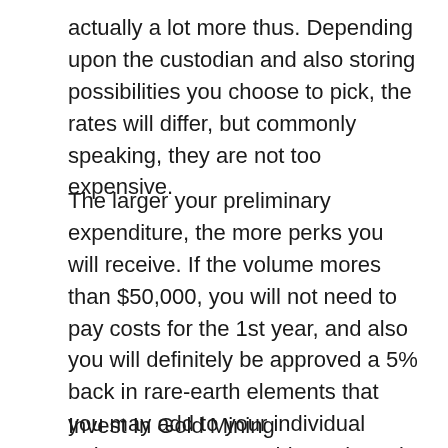actually a lot more thus. Depending upon the custodian and also storing possibilities you choose to pick, the rates will differ, but commonly speaking, they are not too expensive.
The larger your preliminary expenditure, the more perks you will receive. If the volume mores than $50,000, you will not need to pay costs for the 1st year, and also you will definitely be approved a 5% back in rare-earth elements that you may add to your individual retirement account. This package is actually outstanding as it will rather essentially provide you free of cost funds.
Invest In Gold Mining